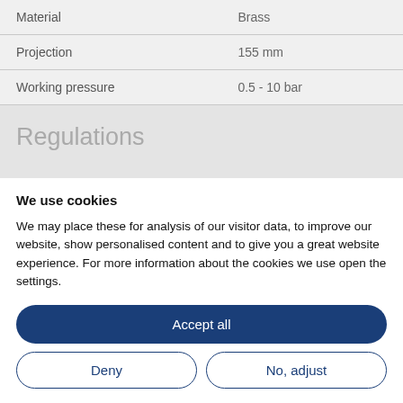| Property | Value |
| --- | --- |
| Material | Brass |
| Projection | 155 mm |
| Working pressure | 0.5 - 10 bar |
Regulations
We use cookies
We may place these for analysis of our visitor data, to improve our website, show personalised content and to give you a great website experience. For more information about the cookies we use open the settings.
Accept all
Deny
No, adjust